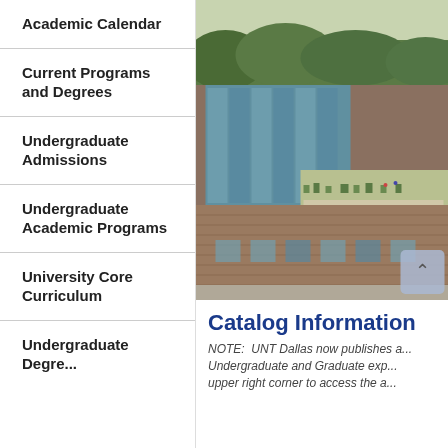Academic Calendar
Current Programs and Degrees
Undergraduate Admissions
Undergraduate Academic Programs
University Core Curriculum
Undergraduate Degree
[Figure (photo): Aerial view of a modern university building with glass facade and green roof terrace, UNT Dallas campus]
Catalog Information
NOTE:  UNT Dallas now publishes a... Undergraduate and Graduate exp... upper right corner to access the a...